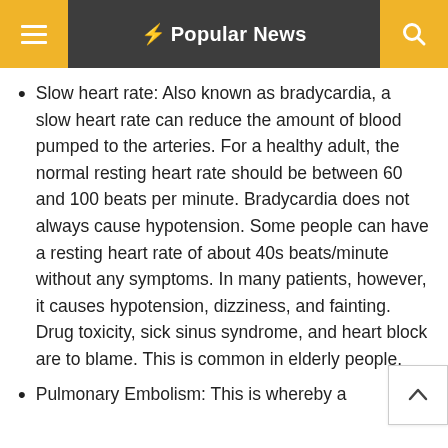Popular News
Slow heart rate: Also known as bradycardia, a slow heart rate can reduce the amount of blood pumped to the arteries. For a healthy adult, the normal resting heart rate should be between 60 and 100 beats per minute. Bradycardia does not always cause hypotension. Some people can have a resting heart rate of about 40s beats/minute without any symptoms. In many patients, however, it causes hypotension, dizziness, and fainting. Drug toxicity, sick sinus syndrome, and heart block are to blame. This is common in elderly people.
Pulmonary Embolism: This is whereby a